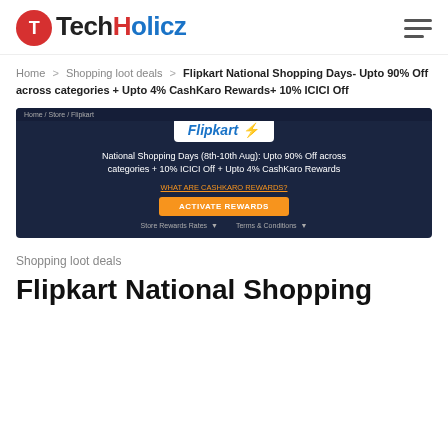TechHolicz
Home > Shopping loot deals > Flipkart National Shopping Days- Upto 90% Off across categories + Upto 4% CashKaro Rewards+ 10% ICICI Off
[Figure (screenshot): Flipkart CashKaro banner showing National Shopping Days (8th-10th Aug): Upto 90% Off across categories + 10% ICICI Off + Upto 4% CashKaro Rewards with an orange ACTIVATE REWARDS button]
Shopping loot deals
Flipkart National Shopping